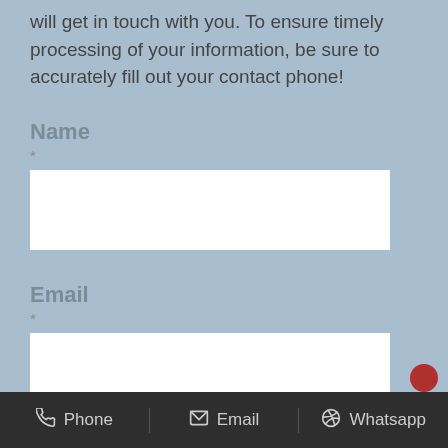will get in touch with you. To ensure timely processing of your information, be sure to accurately fill out your contact phone!
Name
*
[Name input field]
Email
*
[Email input field]
Country
Phone   Email   Whatsapp